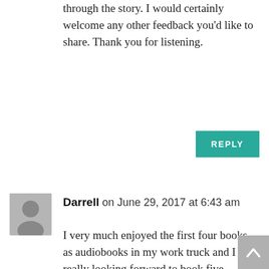through the story. I would certainly welcome any other feedback you'd like to share. Thank you for listening.
REPLY
Darrell on June 29, 2017 at 6:43 am
I very much enjoyed the first four books as audiobooks in my work truck and I am really looking forward to book five. Please make certain that Nick Podehl reads it! What an amazing reader for and amazing book.

Having published a book of my own...a fairly simple linear timeline...I can't